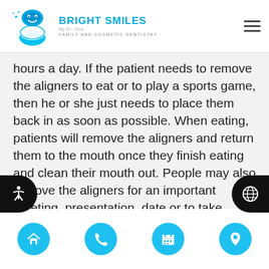Bright Smiles — Family and Cosmetic Dentistry
hours a day. If the patient needs to remove the aligners to eat or to play a sports game, then he or she just needs to place them back in as soon as possible. When eating, patients will remove the aligners and return them to the mouth once they finish eating and clean their mouth out. People may also remove the aligners for an important meeting, presentation, date or to take photos. Below are a few factors that patients need to keep in mind when they are wearing clear aligners.
Navigation icons: Home, Phone, Calendar, Location